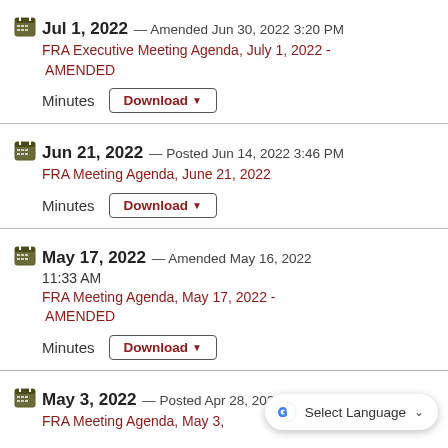Jul 1, 2022 — Amended Jun 30, 2022 3:20 PM
FRA Executive Meeting Agenda, July 1, 2022 - AMENDED
Minutes Download
Jun 21, 2022 — Posted Jun 14, 2022 3:46 PM
FRA Meeting Agenda, June 21, 2022
Minutes Download
May 17, 2022 — Amended May 16, 2022 11:33 AM
FRA Meeting Agenda, May 17, 2022 - AMENDED
Minutes Download
May 3, 2022 — Posted Apr 28, 2022 8:38 AM
FRA Meeting Agenda, May 3,